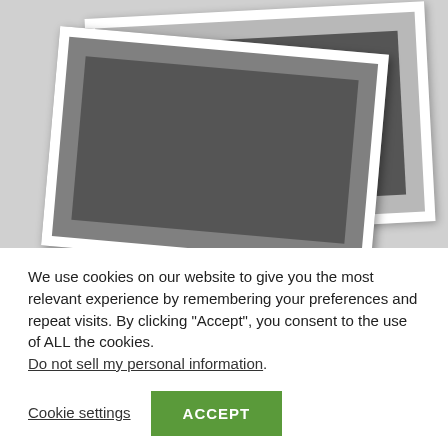[Figure (photo): Blurred background showing overlapping photographs/images in grayscale, stacked at angles with white borders]
We use cookies on our website to give you the most relevant experience by remembering your preferences and repeat visits. By clicking “Accept”, you consent to the use of ALL the cookies. Do not sell my personal information.
Cookie settings
ACCEPT